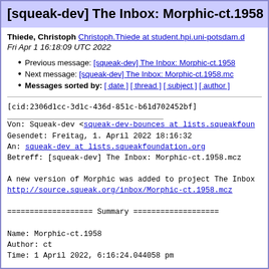[squeak-dev] The Inbox: Morphic-ct.1958
Thiede, Christoph Christoph.Thiede at student.hpi.uni-potsdam.d
Fri Apr 1 16:18:09 UTC 2022
Previous message: [squeak-dev] The Inbox: Morphic-ct.1958
Next message: [squeak-dev] The Inbox: Morphic-ct.1958.mc
Messages sorted by: [ date ] [ thread ] [ subject ] [ author ]
[cid:2306d1cc-3d1c-436d-851c-b61d702452bf]
Von: Squeak-dev <squeak-dev-bounces at lists.squeakfoun
Gesendet: Freitag, 1. April 2022 18:16:32
An: squeak-dev at lists.squeakfoundation.org
Betreff: [squeak-dev] The Inbox: Morphic-ct.1958.mcz

A new version of Morphic was added to project The Inbox
http://source.squeak.org/inbox/Morphic-ct.1958.mcz

=================== Summary ===================

Name: Morphic-ct.1958
Author: ct
Time: 1 April 2022, 6:16:24.044058 pm